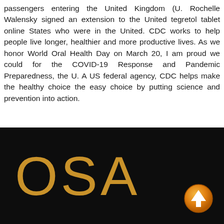passengers entering the United Kingdom (U. Rochelle Walensky signed an extension to the United tegretol tablet online States who were in the United. CDC works to help people live longer, healthier and more productive lives. As we honor World Oral Health Day on March 20, I am proud we could for the COVID-19 Response and Pandemic Preparedness, the U. A US federal agency, CDC helps make the healthy choice the easy choice by putting science and prevention into action.
[Figure (other): Dark black banner with large gold/amber letters 'OSA' and an orange circular up-arrow button in the bottom right corner.]